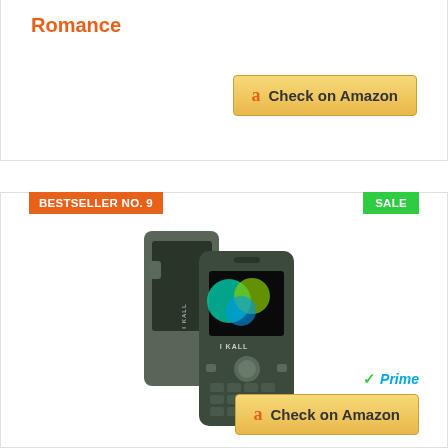Romance
[Figure (other): Check on Amazon button for Romance product]
BESTSELLER NO. 9
SALE
[Figure (photo): I KALL K26 feature phone in dark green color, showing front and side view with keypad and small color display screen]
I KALL K26 Multimedia Mobile (1.8 Inch Display, Dual Sim) | Green
[Figure (other): Amazon Prime badge and Check on Amazon button]